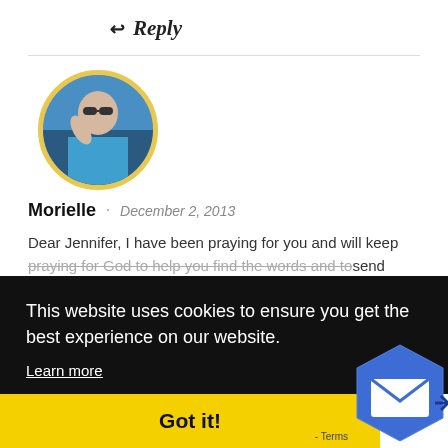↩ Reply
[Figure (photo): Circular avatar photo of a person wearing sunglasses and a blue top, with a yellow border]
Morielle · December 2, 2013
Dear Jennifer, I have been praying for you and will keep praying for God to help you find the words and to send much ut
This website uses cookies to ensure you get the best experience on our website.
Learn more
Got it!
Terms